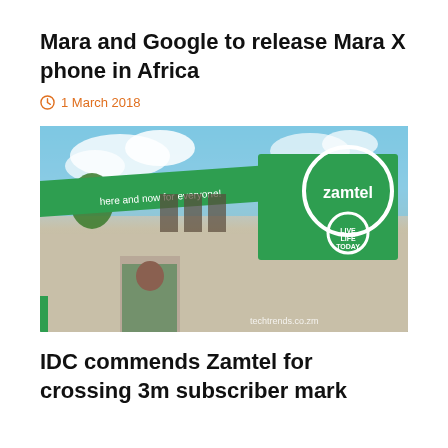Mara and Google to release Mara X phone in Africa
1 March 2018
[Figure (photo): A Zamtel telecommunications building with a large green Zamtel logo sign and a green banner reading 'here and now for everyone!' The building has a concrete facade and there is a person visible on a billboard poster at lower left. Watermark: techtrends.co.zm]
IDC commends Zamtel for crossing 3m subscriber mark